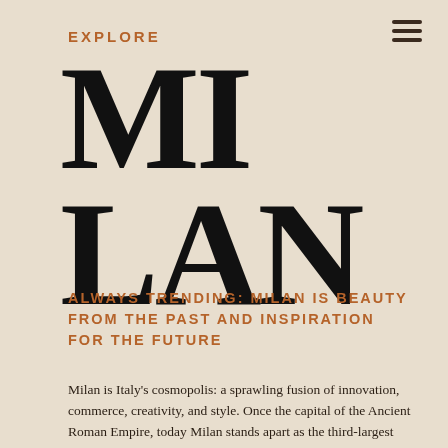EXPLORE
MILAN
ALWAYS TRENDING: MILAN IS BEAUTY FROM THE PAST AND INSPIRATION FOR THE FUTURE
Milan is Italy's cosmopolis: a sprawling fusion of innovation, commerce, creativity, and style. Once the capital of the Ancient Roman Empire, today Milan stands apart as the third-largest economy in Europe, boasts Milan Fashion